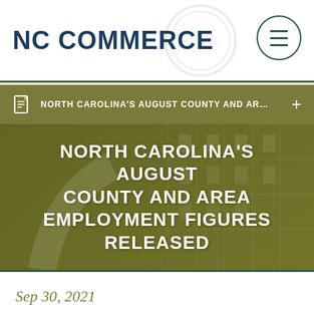NC COMMERCE
NORTH CAROLINA'S AUGUST COUNTY AND AR...
NORTH CAROLINA'S AUGUST COUNTY AND AREA EMPLOYMENT FIGURES RELEASED
Sep 30, 2021